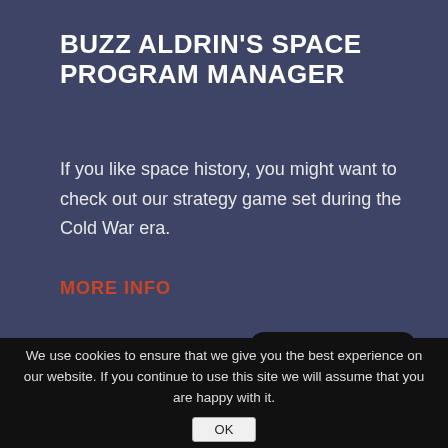BUZZ ALDRIN'S SPACE PROGRAM MANAGER
If you like space history, you might want to check out our strategy game set during the Cold War era.
MORE INFO
[Figure (logo): Polar logo: black rounded rectangle with large crescent circle and smaller circle, text POLAR at bottom]
We use cookies to ensure that we give you the best experience on our website. If you continue to use this site we will assume that you are happy with it.
OK